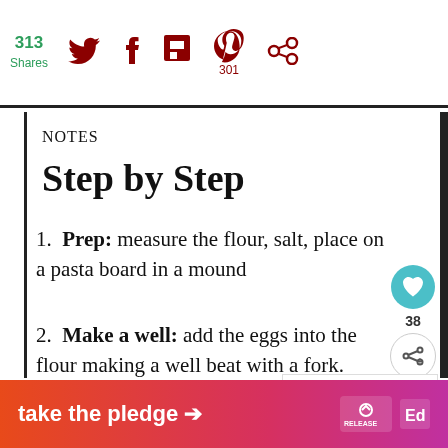313 Shares | Twitter | Facebook | Flipboard | Pinterest 301 | Other social
NOTES
Step by Step
Prep: measure the flour, salt, place on a pasta board in a mound
Make a well: add the eggs into the flour making a well beat with a fork. Once it's blended evenly, start adding flour from around the inside of the well, still [with] fork, until it begins to look shaggy. Shape
take the pledge →